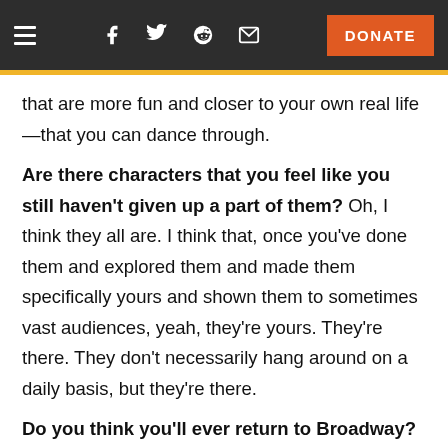Navigation bar with hamburger menu, social icons (Facebook, Twitter, Reddit, Email), and DONATE button
that are more fun and closer to your own real life—that you can dance through.
Are there characters that you feel like you still haven't given up a part of them? Oh, I think they all are. I think that, once you've done them and explored them and made them specifically yours and shown them to sometimes vast audiences, yeah, they're yours. They're there. They don't necessarily hang around on a daily basis, but they're there.
Do you think you'll ever return to Broadway? Only if